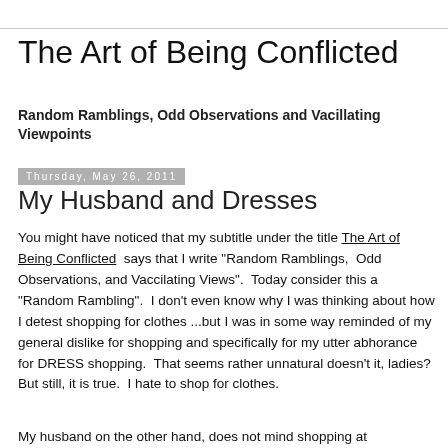The Art of Being Conflicted
Random Ramblings, Odd Observations and Vacillating Viewpoints
Thursday, May 26, 2011
My Husband and Dresses
You might have noticed that my subtitle under the title The Art of Being Conflicted  says that I write "Random Ramblings,  Odd Observations, and Vaccilating Views".  Today consider this a "Random Rambling".  I don't even know why I was thinking about how I detest shopping for clothes ...but I was in some way reminded of my general dislike for shopping and specifically for my utter abhorance for DRESS shopping.  That seems rather unnatural doesn't it, ladies?  But still, it is true.  I hate to shop for clothes.
My husband on the other hand, does not mind shopping at